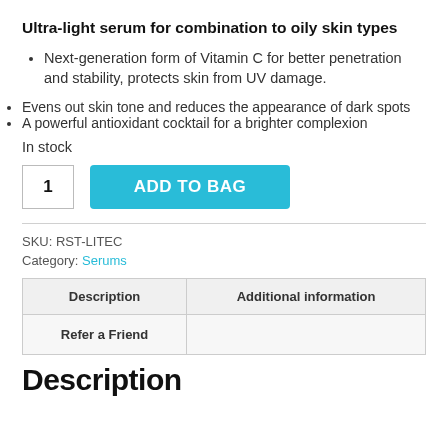Ultra-light serum for combination to oily skin types
Next-generation form of Vitamin C for better penetration and stability, protects skin from UV damage.
Evens out skin tone and reduces the appearance of dark spots
A powerful antioxidant cocktail for a brighter complexion
In stock
1  ADD TO BAG
SKU: RST-LITEC
Category: Serums
| Description | Additional information |
| --- | --- |
| Refer a Friend |  |
Description